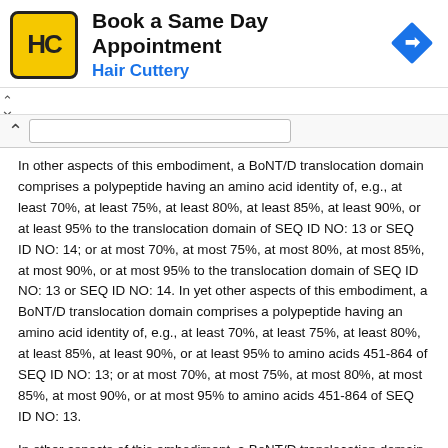[Figure (other): Hair Cuttery advertisement banner with logo (HC monogram on yellow background), text 'Book a Same Day Appointment / Hair Cuttery', and a blue navigation arrow icon on the right. Ad close controls (chevron up and X) at bottom left.]
In other aspects of this embodiment, a BoNT/D translocation domain comprises a polypeptide having an amino acid identity of, e.g., at least 70%, at least 75%, at least 80%, at least 85%, at least 90%, or at least 95% to the translocation domain of SEQ ID NO: 13 or SEQ ID NO: 14; or at most 70%, at most 75%, at most 80%, at most 85%, at most 90%, or at most 95% to the translocation domain of SEQ ID NO: 13 or SEQ ID NO: 14. In yet other aspects of this embodiment, a BoNT/D translocation domain comprises a polypeptide having an amino acid identity of, e.g., at least 70%, at least 75%, at least 80%, at least 85%, at least 90%, or at least 95% to amino acids 451-864 of SEQ ID NO: 13; or at most 70%, at most 75%, at most 80%, at most 85%, at most 90%, or at most 95% to amino acids 451-864 of SEQ ID NO: 13.
In other aspects of this embodiment, a BoNT/D translocation domain comprises a polypeptide having, e.g., at most 1, 2, 3, 4, 5, 6, 7, 8, 9, 10, 20, 30, 40, 50, or 100 non-contiguous amino acid deletions, additions, and/or substitutions relative to the translocation domain of SEQ ID NO: 13 or SEQ ID NO: 14; or at most 1, 2, 3, 4, 5, 6, 7, 8, 9, 10, 20, 30, 40, 50, or 100 non-